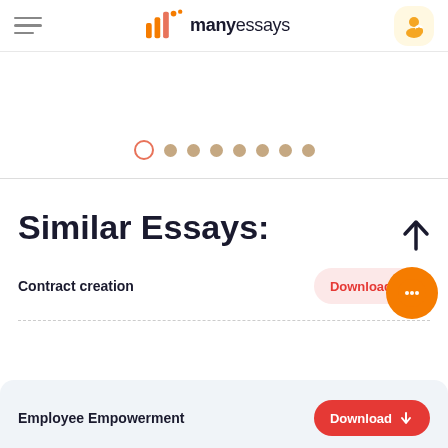[Figure (logo): ManyEssays logo with bar chart icon and hamburger menu and user icon]
[Figure (infographic): Carousel pagination dots with first dot as active (outlined orange) and remaining 7 filled brown dots]
Similar Essays:
Contract creation
Download
Employee Empowerment
Download